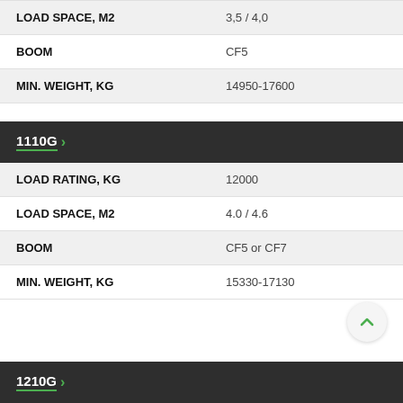| PROPERTY | VALUE |
| --- | --- |
| LOAD SPACE, M2 | 3,5 / 4,0 |
| BOOM | CF5 |
| MIN. WEIGHT, KG | 14950-17600 |
1110G >
| PROPERTY | VALUE |
| --- | --- |
| LOAD RATING, KG | 12000 |
| LOAD SPACE, M2 | 4.0 / 4.6 |
| BOOM | CF5 or CF7 |
| MIN. WEIGHT, KG | 15330-17130 |
1210G >